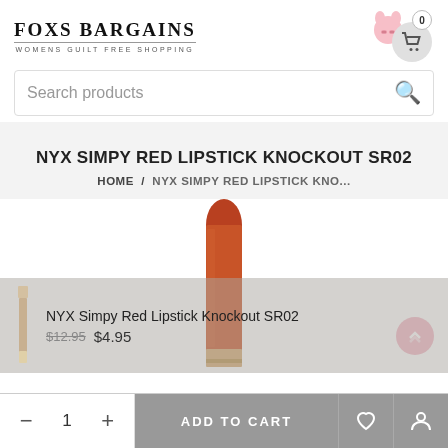FOXS BARGAINS — WOMENS GUILT FREE SHOPPING
Search products
NYX SIMPY RED LIPSTICK KNOCKOUT SR02
HOME / NYX SIMPY RED LIPSTICK KNO...
[Figure (photo): NYX Simpy Red Lipstick Knockout SR02 product photo showing a red/orange lip liner pencil upright with tip visible, and a small thumbnail of the full pencil on the left side.]
NYX Simpy Red Lipstick Knockout SR02
$12.95  $4.95
— 1 + ADD TO CART